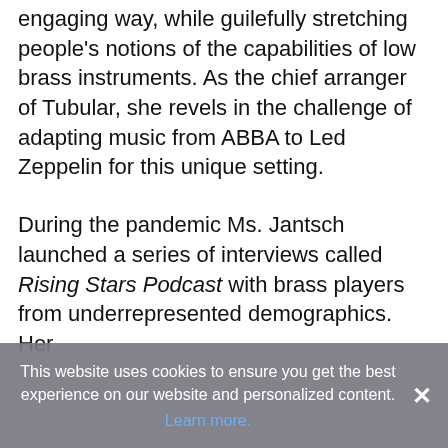engaging way, while guilefully stretching people's notions of the capabilities of low brass instruments. As the chief arranger of Tubular, she revels in the challenge of adapting music from ABBA to Led Zeppelin for this unique setting.
During the pandemic Ms. Jantsch launched a series of interviews called Rising Stars Podcast with brass players from underrepresented demographics. Her
This website uses cookies to ensure you get the best experience on our website and personalized content. Learn more.